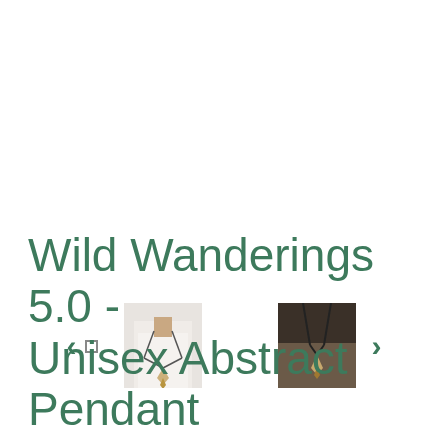[Figure (screenshot): Product image carousel showing a necklace pendant. A small square dot indicator and two thumbnail images are visible (center and right thumbnails show a person wearing a pendant necklace and a close-up of pendant on dark background). Left and right green arrow navigation buttons flank the thumbnails.]
Wild Wanderings 5.0 - Unisex Abstract Pendant